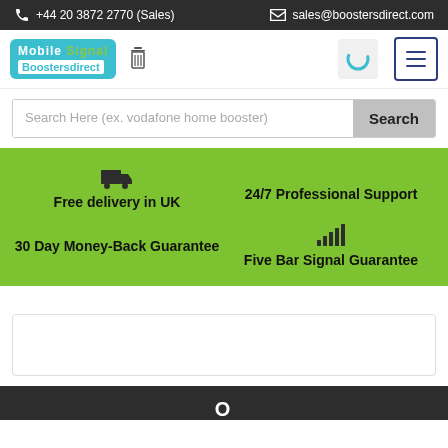+44 20 3872 2770 (Sales)   sales@boostersdirect.com
[Figure (logo): Mobile Signal Boostersdirect logo with teal background and green accent]
Search Here (ex. vodafone home booster)
Free delivery in UK
24/7 Professional Support
30 Day Money-Back Guarantee
Five Bar Signal Guarantee